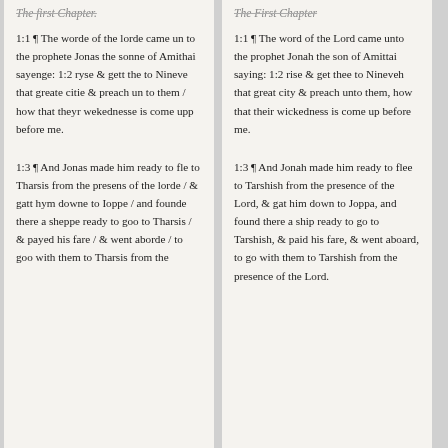The first Chapter.
1:1 ¶ The worde of the lorde came un to the prophete Jonas the sonne of Amithai sayenge: 1:2 ryse & gett the to Nineve that greate citie & preach un to them / how that theyr wekednesse is come upp before me.
1:3 ¶ And Jonas made him ready to fle to Tharsis from the presens of the lorde / & gatt hym downe to Ioppe / and founde there a sheppe ready to goo to Tharsis / & payed his fare / & went aborde / to goo with them to Tharsis from the
The First Chapter
1:1 ¶ The word of the Lord came unto the prophet Jonah the son of Amittai saying: 1:2 rise & get thee to Nineveh that great city & preach unto them, how that their wickedness is come up before me.
1:3 ¶ And Jonah made him ready to flee to Tarshish from the presence of the Lord, & gat him down to Joppa, and found there a ship ready to go to Tarshish, & paid his fare, & went aboard, to go with them to Tarshish from the presence of the Lord.